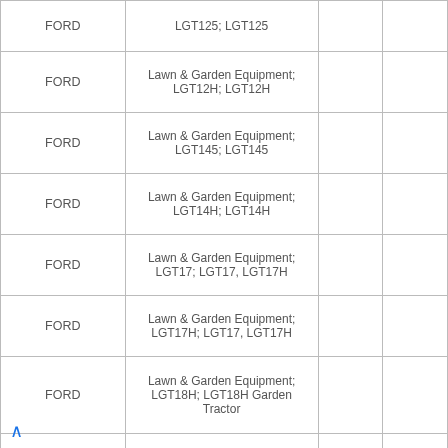| Make | Description |  |  |
| --- | --- | --- | --- |
| FORD | LGT125; LGT125 |  |  |
| FORD | Lawn & Garden Equipment; LGT12H; LGT12H |  |  |
| FORD | Lawn & Garden Equipment; LGT145; LGT145 |  |  |
| FORD | Lawn & Garden Equipment; LGT14H; LGT14H |  |  |
| FORD | Lawn & Garden Equipment; LGT17; LGT17, LGT17H |  |  |
| FORD | Lawn & Garden Equipment; LGT17H; LGT17, LGT17H |  |  |
| FORD | Lawn & Garden Equipment; LGT18H; LGT18H Garden Tractor |  |  |
| FORD | Lawn & Garden Equipment; LGT195; LGT195 |  |  |